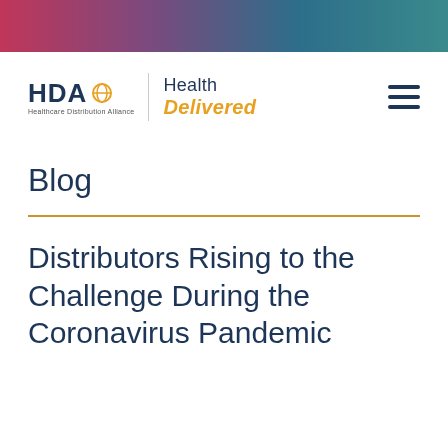[Figure (illustration): Gradient banner bar across the top of the page, transitioning from pink/red on the left through purple to teal/dark teal on the right]
[Figure (logo): HDA (Healthcare Distribution Alliance) logo with circular globe icon and 'Health Delivered' tagline in navy and gold italic text, followed by a hamburger menu icon on the right]
Blog
Distributors Rising to the Challenge During the Coronavirus Pandemic